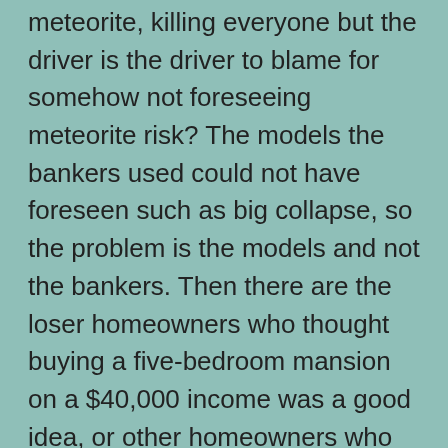meteorite, killing everyone but the driver is the driver to blame for somehow not foreseeing meteorite risk? The models the bankers used could not have foreseen such as big collapse, so the problem is the models and not the bankers. Then there are the loser homeowners who thought buying a five-bedroom mansion on a $40,000 income was a good idea, or other homeowners who speculated in Miami or Las Vegas real estate, naively believing it would become the next Aspen or Manhattan. Or home flippers who thought they could flip to a bigger fool – until they became the fool, holding a highly-leveraged inventory of